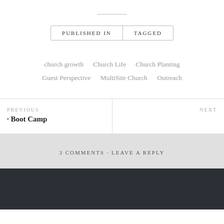PUBLISHED IN | TAGGED
church growth   Church Life   Church Planting   Guest Perspective   MultiSite Church   Outreach
PREVIOUS · Boot Camp
NEXT
3 COMMENTS · LEAVE A REPLY